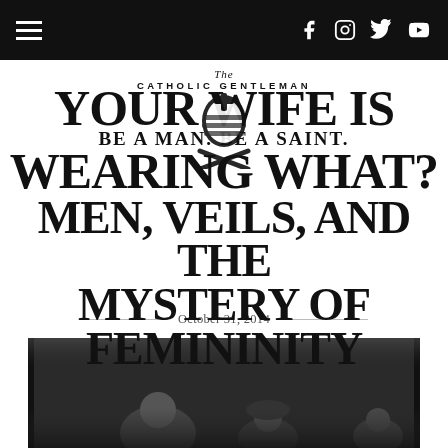Navigation bar with hamburger menu and social icons (Facebook, Instagram, Twitter, YouTube)
The Catholic Gentleman — YOUR WIFE IS WEARING WHAT? BE A MAN. BE A SAINT. MEN, VEILS, AND THE MYSTERY OF FEMININITY
October 31, 2014
[Figure (photo): Black and white photograph of people, partially cropped at bottom of page]